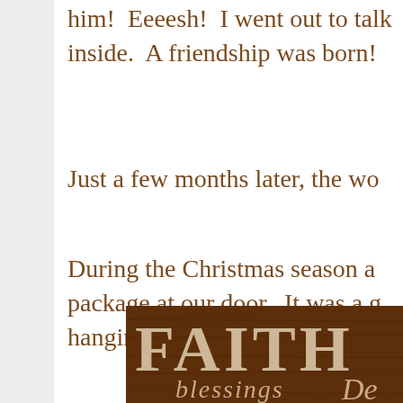him!  Eeeesh!  I went out to talk to him and invited him inside.  A friendship was born!
Just a few months later, the wo...
During the Christmas season a... package at our door.  It was a g... hanging.
[Figure (photo): A decorative wooden sign with the word FAITH and blessings in italic script on a dark brown background.]